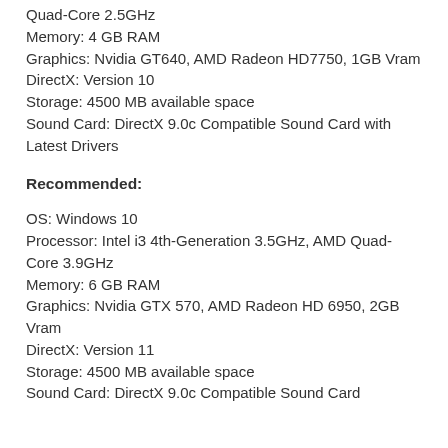Quad-Core 2.5GHz
Memory: 4 GB RAM
Graphics: Nvidia GT640, AMD Radeon HD7750, 1GB Vram
DirectX: Version 10
Storage: 4500 MB available space
Sound Card: DirectX 9.0c Compatible Sound Card with Latest Drivers
Recommended:
OS: Windows 10
Processor: Intel i3 4th-Generation 3.5GHz, AMD Quad-Core 3.9GHz
Memory: 6 GB RAM
Graphics: Nvidia GTX 570, AMD Radeon HD 6950, 2GB Vram
DirectX: Version 11
Storage: 4500 MB available space
Sound Card: DirectX 9.0c Compatible Sound Card